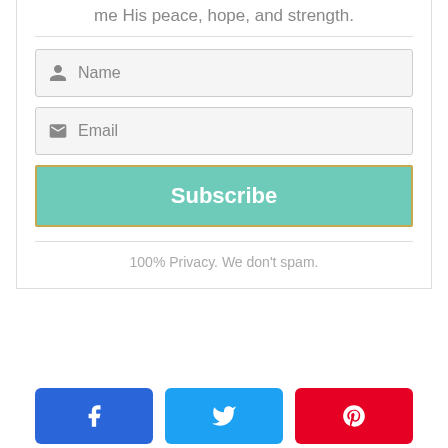me His peace, hope, and strength.
Name
Email
Subscribe
100% Privacy. We don't spam.
[Figure (screenshot): Three social share buttons: Facebook (blue), Twitter (light blue), Pinterest (red)]